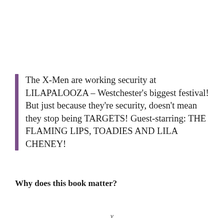The X-Men are working security at LILAPALOOZA – Westchester's biggest festival! But just because they're security, doesn't mean they stop being TARGETS! Guest-starring: THE FLAMING LIPS, TOADIES AND LILA CHENEY!
Why does this book matter?